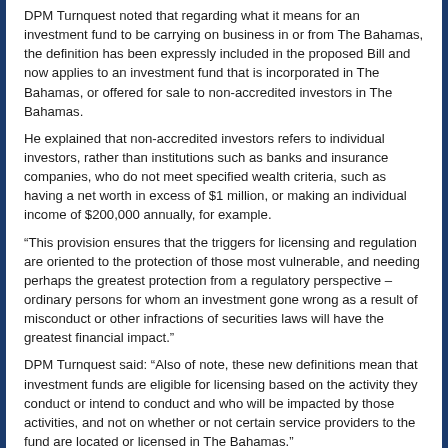DPM Turnquest noted that regarding what it means for an investment fund to be carrying on business in or from The Bahamas, the definition has been expressly included in the proposed Bill and now applies to an investment fund that is incorporated in The Bahamas, or offered for sale to non-accredited investors in The Bahamas.
He explained that non-accredited investors refers to individual investors, rather than institutions such as banks and insurance companies, who do not meet specified wealth criteria, such as having a net worth in excess of $1 million, or making an individual income of $200,000 annually, for example.
“This provision ensures that the triggers for licensing and regulation are oriented to the protection of those most vulnerable, and needing perhaps the greatest protection from a regulatory perspective – ordinary persons for whom an investment gone wrong as a result of misconduct or other infractions of securities laws will have the greatest financial impact.”
DPM Turnquest said: “Also of note, these new definitions mean that investment funds are eligible for licensing based on the activity they conduct or intend to conduct and who will be impacted by those activities, and not on whether or not certain service providers to the fund are located or licensed in The Bahamas.”
Read/download his full address here:
DPM ADDRESS ON INVESTMENT FUNDS BILL, 2019